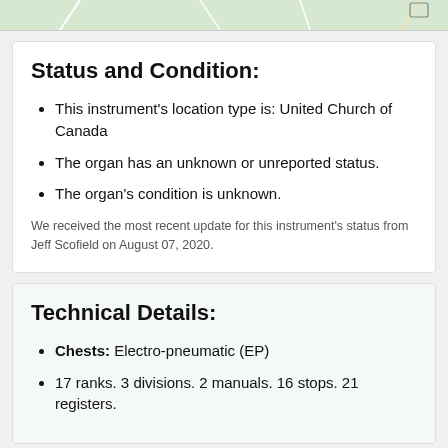[Figure (map): Top strip showing a partial map with green background and road lines]
Status and Condition:
This instrument's location type is: United Church of Canada
The organ has an unknown or unreported status.
The organ's condition is unknown.
We received the most recent update for this instrument's status from Jeff Scofield on August 07, 2020.
Technical Details:
Chests: Electro-pneumatic (EP)
17 ranks. 3 divisions. 2 manuals. 16 stops. 21 registers.